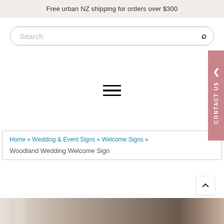Free urban NZ shipping for orders over $300
Search
[Figure (infographic): Hamburger menu icon (three horizontal bars)]
[Figure (infographic): CONTACT US vertical side tab in pink/mauve color]
Home » Wedding & Event Signs » Welcome Signs » Woodland Wedding Welcome Sign
[Figure (photo): Bottom strip showing partial image of a woodland wedding welcome sign]